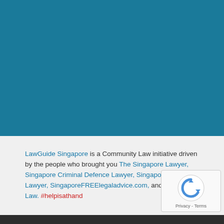[Figure (illustration): Solid teal/dark cyan background block occupying the top ~60% of the page]
LawGuide Singapore is a Community Law initiative driven by the people who brought you The Singapore Lawyer, Singapore Criminal Defence Lawyer, Singapore Family Lawyer, SingaporeFREElegaladvice.com, and Tembusu Law. #helpisathand
[Figure (logo): reCAPTCHA badge with circular arrow logo and Privacy - Terms text]